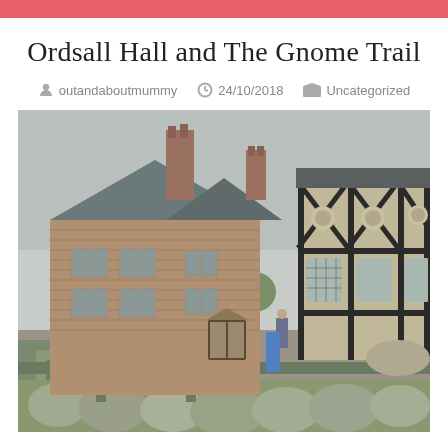Ordsall Hall and The Gnome Trail
outandaboutmummy  24/10/2018  Uncategorized
[Figure (photo): Photograph of Ordsall Hall, a historic Tudor brick building with chimneys, gabled roof, and timber-framed section on the right, surrounded by formal hedged gardens with topiary shrubs.]